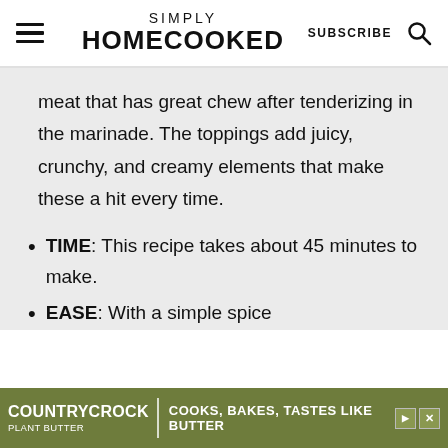SIMPLY HOMECOOKED | SUBSCRIBE
meat that has great chew after tenderizing in the marinade. The toppings add juicy, crunchy, and creamy elements that make these a hit every time.
TIME: This recipe takes about 45 minutes to make.
EASE: With a simple spice
[Figure (screenshot): Country Crock Plant Butter advertisement banner: 'COOKS, BAKES, TASTES LIKE BUTTER']